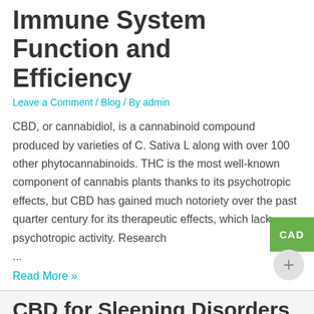Immune System Function and Efficiency
Leave a Comment / Blog / By admin
CBD, or cannabidiol, is a cannabinoid compound produced by varieties of C. Sativa L along with over 100 other phytocannabinoids. THC is the most well-known component of cannabis plants thanks to its psychotropic effects, but CBD has gained much notoriety over the past quarter century for its therapeutic effects, which lack psychotropic activity. Research ...
Read More »
CBD for Sleeping Disorders
Leave a Comment / Blog / By admin